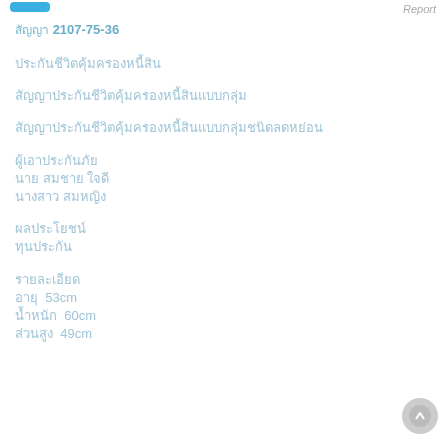Report
สัญญา 2107-75-36
ประกันชีวิตคุ้มครองหนี้สิน
สัญญาประกันชีวิตคุ้มครองหนี้สินแบบกลุ่ม
สัญญาประกันชีวิตคุ้มครองหนี้สินแบบกลุ่มชนิดลดหย่อน
ผู้เอาประกันภัย
นาย สมชาย ใจดี
นางสาว สมหญิง
ผลประโยชน์
ทุนประกัน
รายละเอียด
อายุ 53cm
น้ำหนัก 60cm
ส่วนสูง 49cm